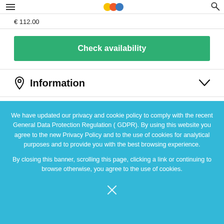€ 112.00
Check availability
Information
We have updated our privacy and cookie policy to comply with the recent General Data Protection Regulation ( GDPR). By using this website you agree to the new Privacy Policy and to the use of cookies for analytical purposes and to provide you with the best browsing experience.
By closing this banner, scrolling this page, clicking a link or continuing to browse otherwise, you agree to the use of cookies.